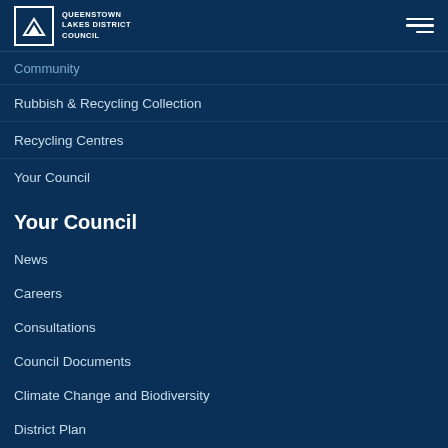QUEENSTOWN LAKES DISTRICT COUNCIL
Community
Rubbish & Recycling Collection
Recycling Centres
Your Council
Your Council
News
Careers
Consultations
Council Documents
Climate Change and Biodiversity
District Plan
Elected Members